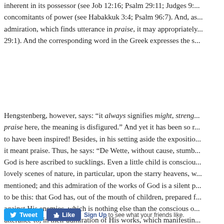inherent in its possessor (see Job 12:16; Psalm 29:11; Judges 9:... concomitants of power (see Habakkuk 3:4; Psalm 96:7). And, as... admiration, which finds utterance in praise, it may appropriately... 29:1). And the corresponding word in the Greek expresses the s...
Hengstenberg, however, says: “it always signifies might, streng... praise here, the meaning is disfigured.” And yet it has been so r... to have been inspired! Besides, in his setting aside the expositio... it meant praise. Thus, he says: “De Wette, without cause, stumb... God is here ascribed to sucklings. Even a little child is consciou... lovely scenes of nature, in particular, upon the starry heavens, w... mentioned; and this admiration of the works of God is a silent p... to be this: that God has, out of the mouth of children, prepared f... against His enemies, which is nothing else than the conscious o... utterance to, in their admiration of His works, which manifestin... and perfections.